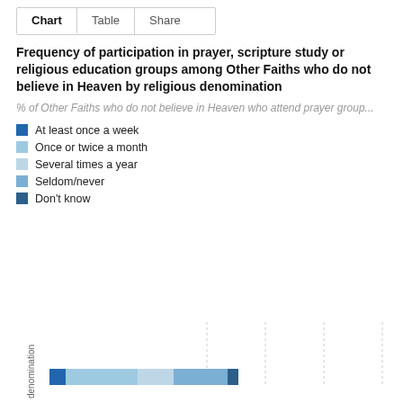Chart    Table    Share
Frequency of participation in prayer, scripture study or religious education groups among Other Faiths who do not believe in Heaven by religious denomination
% of Other Faiths who do not believe in Heaven who attend prayer group...
At least once a week
Once or twice a month
Several times a year
Seldom/never
Don't know
[Figure (stacked-bar-chart): Partial stacked bar chart visible at the bottom of the page, showing denomination on y-axis. Only the bottom portion of the chart is visible.]